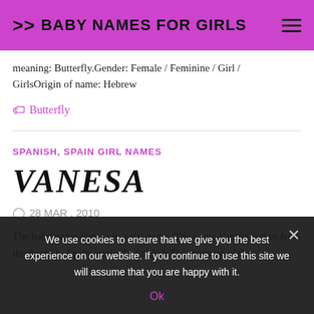>> BABY NAMES FOR GIRLS
meaning: Butterfly.Gender: Female / Feminine / Girl / GirlsOrigin of name: Hebrew
🏷 Butterfly
SPANISH, SPAIN GIRL NAMES
VANESA
28 MAR , 2010
The baby name Vanesa is a girl name. The name Vanesa comes from the Spanish, Spain origin. In English The meaning of the
We use cookies to ensure that we give you the best experience on our website. If you continue to use this site we will assume that you are happy with it.
Ok